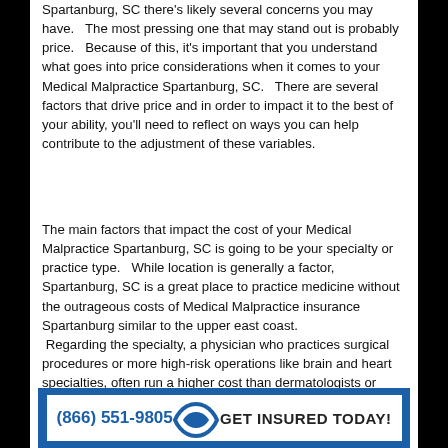Spartanburg, SC there's likely several concerns you may have. The most pressing one that may stand out is probably price. Because of this, it's important that you understand what goes into price considerations when it comes to your Medical Malpractice Spartanburg, SC. There are several factors that drive price and in order to impact it to the best of your ability, you'll need to reflect on ways you can help contribute to the adjustment of these variables.
The main factors that impact the cost of your Medical Malpractice Spartanburg, SC is going to be your specialty or practice type. While location is generally a factor, Spartanburg, SC is a great place to practice medicine without the outrageous costs of Medical Malpractice insurance Spartanburg similar to the upper east coast. Regarding the specialty, a physician who practices surgical procedures or more high-risk operations like brain and heart specialties, often run a higher cost than dermatologists or pediatricians.
[Figure (infographic): Blue banner with white inner box containing phone number (866) 551-9805, a logo arc shape, and text GET INSURED TODAY!]